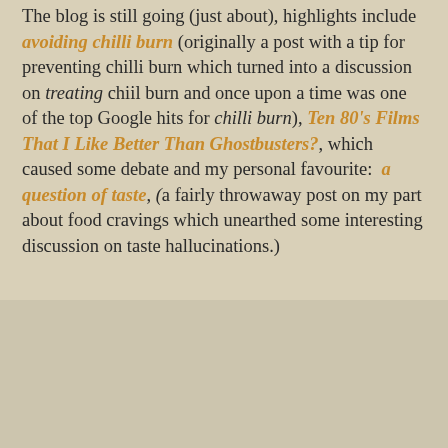The blog is still going (just about), highlights include avoiding chilli burn (originally a post with a tip for preventing chilli burn which turned into a discussion on treating chiil burn and once upon a time was one of the top Google hits for chilli burn), Ten 80's Films That I Like Better Than Ghostbusters?, which caused some debate and my personal favourite: a question of taste, (a fairly throwaway post on my part about food cravings which unearthed some interesting discussion on taste hallucinations.)
about    useful links